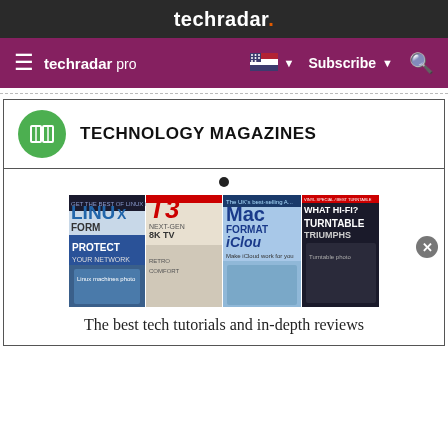techradar.
techradar pro  Subscribe
TECHNOLOGY MAGAZINES
[Figure (illustration): A row of technology magazine covers including Linux Format, T3, Mac Format, and What Hi-Fi? Turntable Triumphs]
The best tech tutorials and in-depth reviews